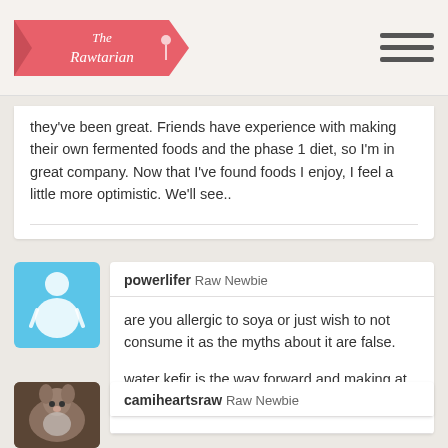The Rawtarian
they've been great. Friends have experience with making their own fermented foods and the phase 1 diet, so I'm in great company. Now that I've found foods I enjoy, I feel a little more optimistic. We'll see..
powerlifer Raw Newbie
are you allergic to soya or just wish to not consume it as the myths about it are false.

water kefir is the way forward and making at home.
camiheartsraw Raw Newbie